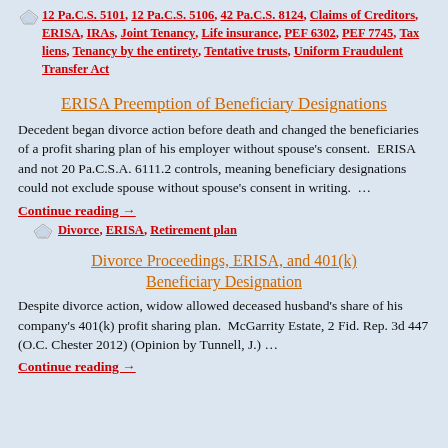12 Pa.C.S. 5101, 12 Pa.C.S. 5106, 42 Pa.C.S. 8124, Claims of Creditors, ERISA, IRAs, Joint Tenancy, Life insurance, PEF 6302, PEF 7745, Tax liens, Tenancy by the entirety, Tentative trusts, Uniform Fraudulent Transfer Act
ERISA Preemption of Beneficiary Designations
Decedent began divorce action before death and changed the beneficiaries of a profit sharing plan of his employer without spouse's consent.  ERISA and not 20 Pa.C.S.A. 6111.2 controls, meaning beneficiary designations could not exclude spouse without spouse's consent in writing.  …
Continue reading →
Divorce, ERISA, Retirement plan
Divorce Proceedings, ERISA, and 401(k) Beneficiary Designation
Despite divorce action, widow allowed deceased husband's share of his company's 401(k) profit sharing plan.  McGarrity Estate, 2 Fid. Rep. 3d 447 (O.C. Chester 2012) (Opinion by Tunnell, J.) …
Continue reading →